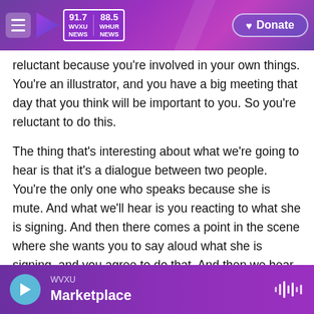WVXU 91.7 NEWS | 88.5 WHUR NEWS | Donate
reluctant because you're involved in your own things. You're an illustrator, and you have a big meeting that day that you think will be important to you. So you're reluctant to do this.
The thing that's interesting about what we're going to hear is that it's a dialogue between two people. You're the only one who speaks because she is mute. And what we'll hear is you reacting to what she is signing. And then there comes a point in the scene where she wants you to say aloud what she is signing, and you agree to do that. And then we hear her signing. And we hear her in your voice
WVXU Marketplace